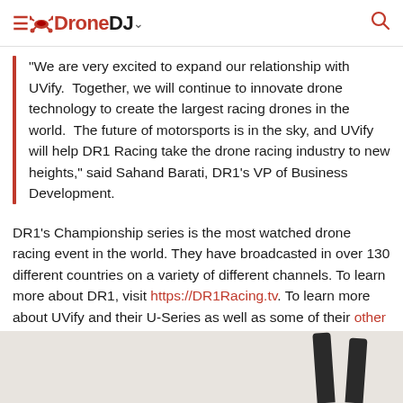DroneDJ
"We are very excited to expand our relationship with UVify. Together, we will continue to innovate drone technology to create the largest racing drones in the world. The future of motorsports is in the sky, and UVify will help DR1 Racing take the drone racing industry to new heights," said Sahand Barati, DR1's VP of Business Development.
DR1's Championship series is the most watched drone racing event in the world. They have broadcasted in over 130 different countries on a variety of different channels. To learn more about DR1, visit https://DR1Racing.tv. To learn more about UVify and their U-Series as well as some of their other drones, visit https://UVify.com.
[Figure (photo): Partial photo of a drone, showing two dark drone arms against a light beige/grey background.]